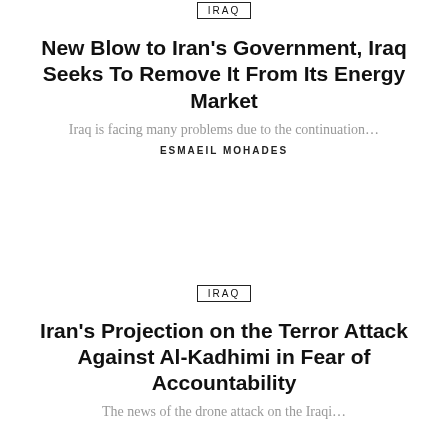IRAQ
New Blow to Iran’s Government, Iraq Seeks To Remove It From Its Energy Market
Iraq is facing many problems due to the continuation…
ESMAEIL MOHADES
IRAQ
Iran’s Projection on the Terror Attack Against Al-Kadhimi in Fear of Accountability
The news of the drone attack on the Iraqi…